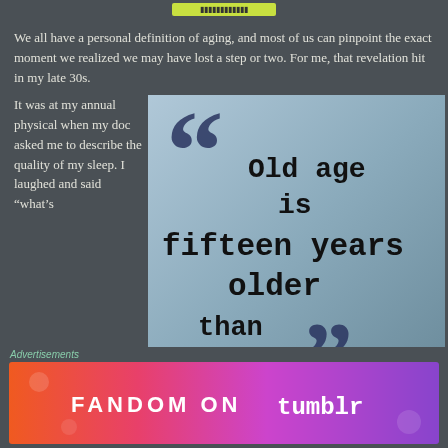We all have a personal definition of aging, and most of us can pinpoint the exact moment we realized we may have lost a step or two. For me, that revelation hit in my late 30s.
It was at my annual physical when my doc asked me to describe the quality of my sleep. I laughed and said “what’s
[Figure (illustration): Quote image with large decorative quotation marks on a gradient blue-gray background. Text reads: Old age is fifteen years older than I am.]
Advertisements
[Figure (illustration): Fandom on Tumblr advertisement banner with colorful gradient background showing orange, pink, and purple with white text reading FANDOM ON tumblr]